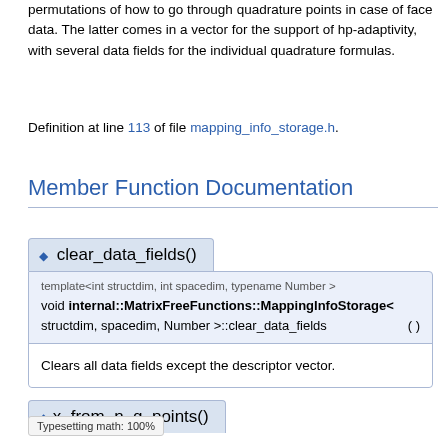permutations of how to go through quadrature points in case of face data. The latter comes in a vector for the support of hp-adaptivity, with several data fields for the individual quadrature formulas.
Definition at line 113 of file mapping_info_storage.h.
Member Function Documentation
◆ clear_data_fields()
template<int structdim, int spacedim, typename Number >
void internal::MatrixFreeFunctions::MappingInfoStorage< structdim, spacedim, Number >::clear_data_fields ( )
Clears all data fields except the descriptor vector.
◆ x_from_n_q_points()